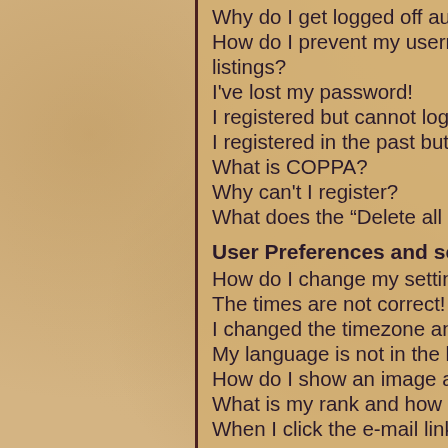Why do I get logged off automatically?
How do I prevent my username appearing in the online user listings?
I've lost my password!
I registered but cannot login!
I registered in the past but cannot login any more?!
What is COPPA?
Why can't I register?
What does the "Delete all board cookies" do?
User Preferences and settings
How do I change my settings?
The times are not correct!
I changed the timezone and the time is still wrong!
My language is not in the list!
How do I show an image along with my username?
What is my rank and how do I change it?
When I click the e-mail link for a user it asks me to login?
Posting Issues
How do I post a topic in a forum?
How do I edit or delete a post?
How do I add a signature to my post?
How do I create a poll?
Why can't I add more poll options?
How do I edit or delete a poll?
Why can't I access a forum?
Why can't I add attachments?
Why did I receive a warning?